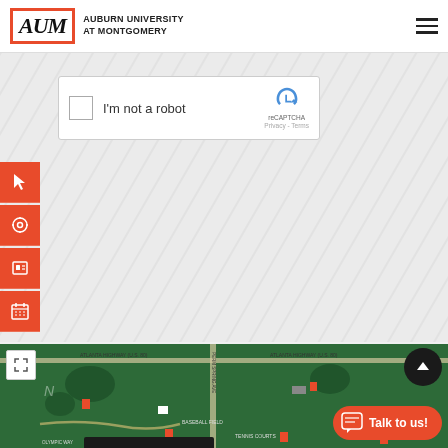[Figure (screenshot): AUM (Auburn University at Montgomery) website header with logo on left and hamburger menu on right]
[Figure (screenshot): reCAPTCHA widget showing checkbox, 'I'm not a robot' text, and reCAPTCHA logo with Privacy and Terms links]
[Figure (screenshot): Sidebar with orange icon buttons (cursor, settings, contact, calendar) on the left edge]
[Figure (screenshot): Black Submit button on gray background]
[Figure (map): AUM campus map showing green grounds with building markers, roads labeled Atlanta Highway (U.S. 80), Baseball Field, Tennis Courts, and a Talk to us chat button overlay]